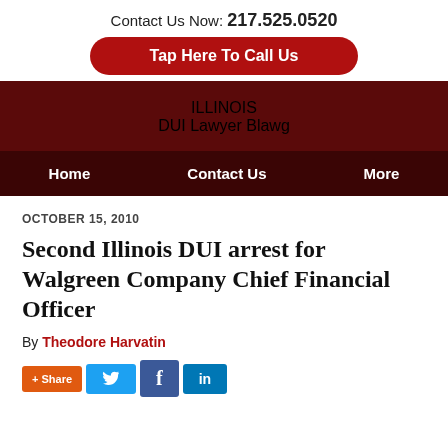Contact Us Now: 217.525.0520
Tap Here To Call Us
ILLINOIS DUI Lawyer Blawg
Home   Contact Us   More
OCTOBER 15, 2010
Second Illinois DUI arrest for Walgreen Company Chief Financial Officer
By Theodore Harvatin
[Figure (other): Social share buttons: +Share (orange), Twitter bird (blue), Facebook f (blue), LinkedIn in (blue)]